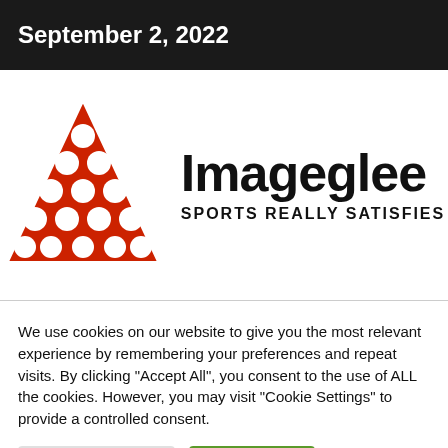September 2, 2022
[Figure (logo): Imageglee logo with red billiard ball triangle and text 'Imageglee SPORTS REALLY SATISFIES']
We use cookies on our website to give you the most relevant experience by remembering your preferences and repeat visits. By clicking "Accept All", you consent to the use of ALL the cookies. However, you may visit "Cookie Settings" to provide a controlled consent.
Cookie Settings | Accept All